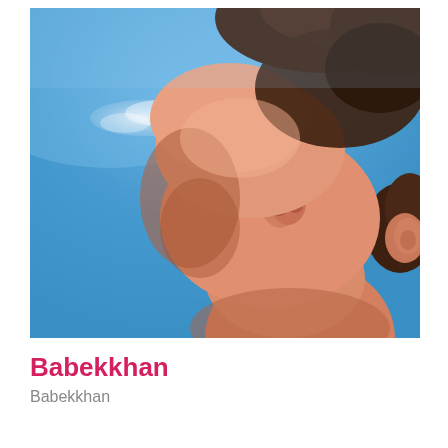[Figure (photo): Close-up photo of a person tilting their head back with eyes closed, face turned upward toward a bright blue sky with a small wispy white cloud. The person has brown/auburn hair and warm skin tone. The photo is taken from a low angle looking up.]
Babekkhan
Babekkhan